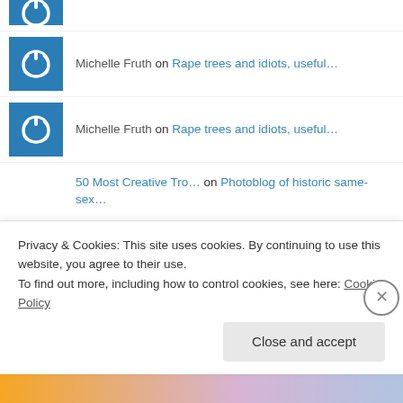Michelle Fruth on Rape trees and idiots, useful…
Michelle Fruth on Rape trees and idiots, useful…
50 Most Creative Tro… on Photoblog of historic same-sex…
homes sale atlanta g… on The Two Lefts
Funny Protesters Tro… on Photoblog of historic same-sex…
30 Funny Protesters… on Photoblog of historic…
Privacy & Cookies: This site uses cookies. By continuing to use this website, you agree to their use.
To find out more, including how to control cookies, see here: Cookie Policy
Close and accept